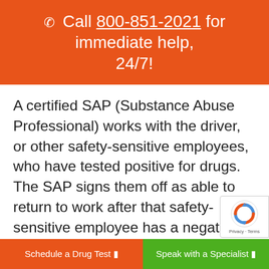Call 800-851-2021 for immediate help, 24/7!
A certified SAP (Substance Abuse Professional) works with the driver, or other safety-sensitive employees, who have tested positive for drugs. The SAP signs them off as able to return to work after that safety-sensitive employee has a negative drug test result.
Schedule a Drug Test
Speak with a Specialist